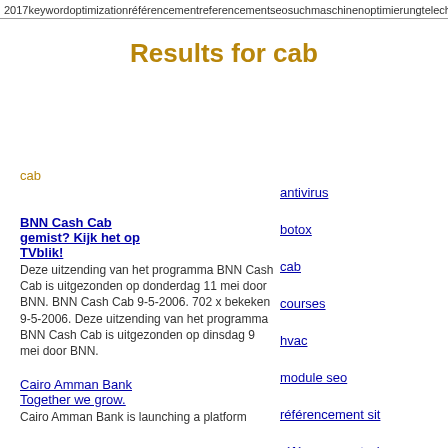2017keywordoptimizationréférencementreferencementseosuchmaschinenoptimierungtelecha
Results for cab
cab
antivirus
botox
cab
courses
hvac
module seo
référencement sit
référencement wi
BNN Cash Cab gemist? Kijk het op TVblik!
Deze uitzending van het programma BNN Cash Cab is uitgezonden op donderdag 11 mei door BNN. BNN Cash Cab 9-5-2006. 702 x bekeken 9-5-2006. Deze uitzending van het programma BNN Cash Cab is uitgezonden op dinsdag 9 mei door BNN.
Cairo Amman Bank Together we grow.
Cairo Amman Bank is launching a platform